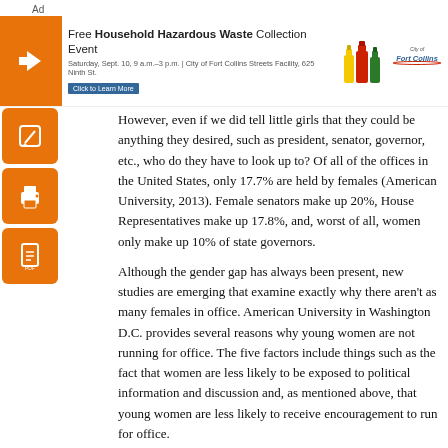[Figure (infographic): Orange and white advertisement banner for 'Free Household Hazardous Waste Collection Event' by City of Fort Collins, with orange arrow icon, colorful bottle icons, and Fort Collins logo. Text reads: Free Household Hazardous Waste Collection Event, Saturday, Sept. 10, 9 a.m.–3 p.m. | City of Fort Collins Streets Facility, 625 Ninth St. Click to Learn More.]
However, even if we did tell little girls that they could be anything they desired, such as president, senator, governor, etc., who do they have to look up to? Of all of the offices in the United States, only 17.7% are held by females (American University, 2013). Female senators make up 20%, House Representatives make up 17.8%, and, worst of all, women only make up 10% of state governors.
Although the gender gap has always been present, new studies are emerging that examine exactly why there aren't as many females in office. American University in Washington D.C. provides several reasons why young women are not running for office. The five factors include things such as the fact that women are less likely to be exposed to political information and discussion and, as mentioned above, that young women are less likely to receive encouragement to run for office.
However, the most notable factor mentioned in the study is that women are less likely to believe they are qualified to run for office. Although there are many contributing factors to why young women feel this way, it only makes sense that one major